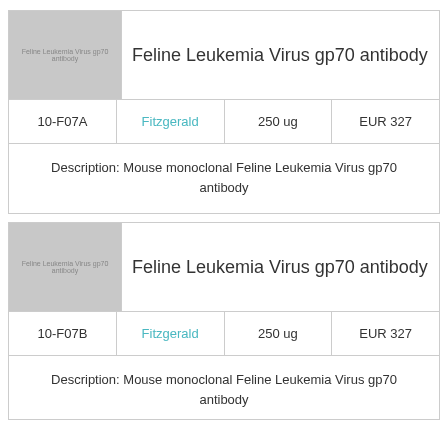Feline Leukemia Virus gp70 antibody
| Catalog | Supplier | Amount | Price |
| --- | --- | --- | --- |
| 10-F07A | Fitzgerald | 250 ug | EUR 327 |
Description: Mouse monoclonal Feline Leukemia Virus gp70 antibody
Feline Leukemia Virus gp70 antibody
| Catalog | Supplier | Amount | Price |
| --- | --- | --- | --- |
| 10-F07B | Fitzgerald | 250 ug | EUR 327 |
Description: Mouse monoclonal Feline Leukemia Virus gp70 antibody